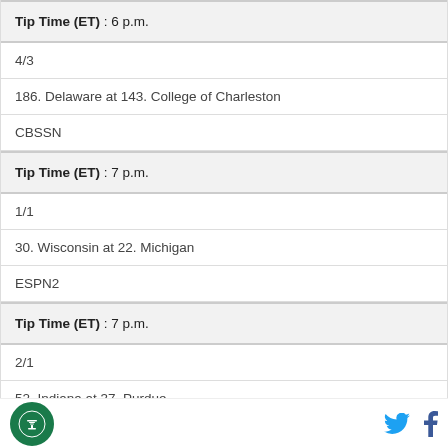Tip Time (ET) : 6 p.m.
4/3
186. Delaware at 143. College of Charleston
CBSSN
Tip Time (ET) : 7 p.m.
1/1
30. Wisconsin at 22. Michigan
ESPN2
Tip Time (ET) : 7 p.m.
2/1
52. Indiana at 37. Purdue